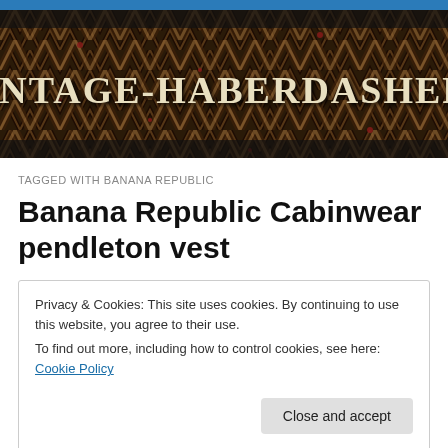[Figure (illustration): Website banner with zigzag/chevron textile pattern background in dark brown, black, and cream with red accents. Large serif text reads VINTAGE-HABERDASHERS in cream/ivory color.]
TAGGED WITH BANANA REPUBLIC
Banana Republic Cabinwear pendleton vest
Privacy & Cookies: This site uses cookies. By continuing to use this website, you agree to their use.
To find out more, including how to control cookies, see here: Cookie Policy
Close and accept